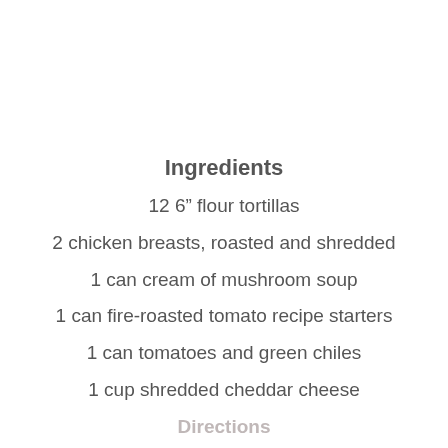Ingredients
12 6” flour tortillas
2 chicken breasts, roasted and shredded
1 can cream of mushroom soup
1 can fire-roasted tomato recipe starters
1 can tomatoes and green chiles
1 cup shredded cheddar cheese
Directions